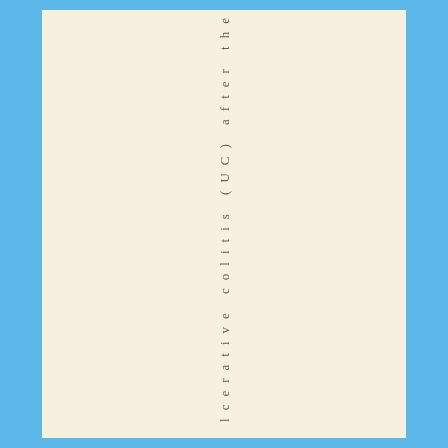lcerative colitis (UC) after the